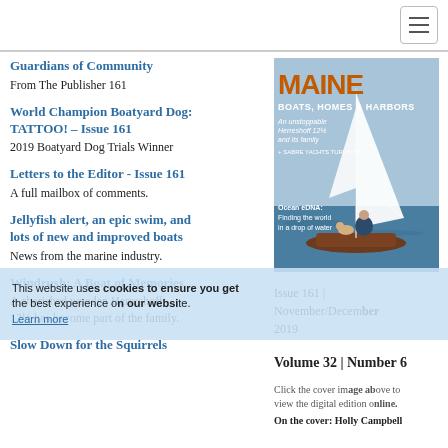Navigation bar with hamburger menu
Guardians of Community
From The Publisher 161
World Champion Boatyard Dog: TATTOO! – Issue 161
2019 Boatyard Dog Trials Winner
Letters to the Editor - Issue 161
A full mailbox of comments.
Jellyfish alert, an epic swim, and lots of new and improved boats
News from the marine industry.
Windrush: A Boat of Memories
A cherished wooden Herreshoff 12½ has become part of the family.
Slow Down for the Squirrels
[Figure (photo): Cover of Maine Boats, Homes & Harbors magazine, Issue 161, November/December 2019, Volume 32 Number 6. Shows a sailboat on water with a person and dog. Title text: MAINE BOATS, HOMES & HARBORS. Subheadings: An unstoppable Herreshoff 12½ and its family, + SABRE YACHTS TURNS 50, Ocean eDNA: Finding the world in a drop of water. On the cover: Holly Campbell]
Issue 161 | November/December 2019
Volume 32 | Number 6
Click the cover image above to view the digital edition online.
On the cover: Holly Campbell
This website uses cookies to ensure you get the best experience on our website. Learn more